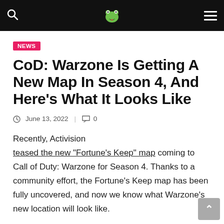NEWS GAMING SITE — navigation header
CoD: Warzone Is Getting A New Map In Season 4, And Here’s What It Looks Like
June 13, 2022  |  0
Recently, Activision teased the new “Fortune’s Keep” map coming to Call of Duty: Warzone for Season 4. Thanks to a community effort, the Fortune’s Keep map has been fully uncovered, and now we know what Warzone’s new location will look like.
On June 13, Warzone’s upcoming map was introduced as